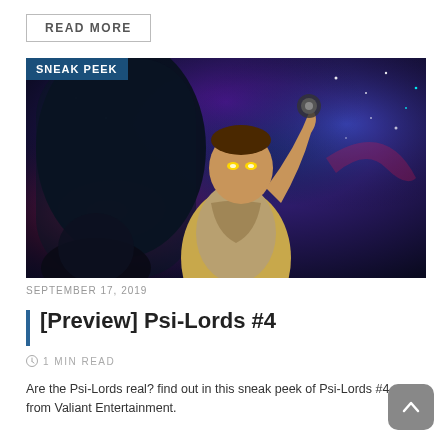READ MORE
[Figure (illustration): Comic book style illustration of a superhero character with glowing eyes raising a fist against a cosmic nebula background. Labeled 'SNEAK PEEK' in a blue badge at top left.]
SEPTEMBER 17, 2019
[Preview] Psi-Lords #4
1 MIN READ
Are the Psi-Lords real? find out in this sneak peek of Psi-Lords #4 from Valiant Entertainment.